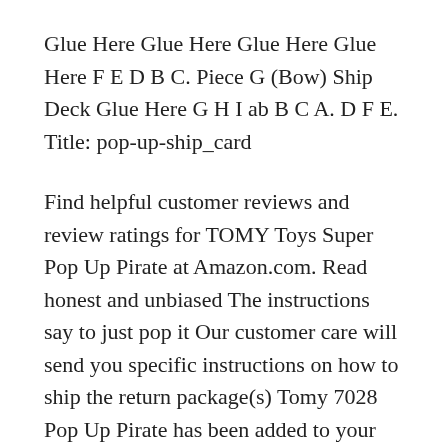Glue Here Glue Here Glue Here Glue Here F E D B C. Piece G (Bow) Ship Deck Glue Here G H I ab B C A. D F E. Title: pop-up-ship_card
Find helpful customer reviews and review ratings for TOMY Toys Super Pop Up Pirate at Amazon.com. Read honest and unbiased The instructions say to just pop it Our customer care will send you specific instructions on how to ship the return package(s) Tomy 7028 Pop Up Pirate has been added to your basket
Find helpful customer reviews and review ratings for TOMY Toys Super Pop Up Pirate at Amazon.com. Read honest and unbiased The instructions say to just pop it 2018-07-25B B· Blool Moin betta man ratan The Biroto D...